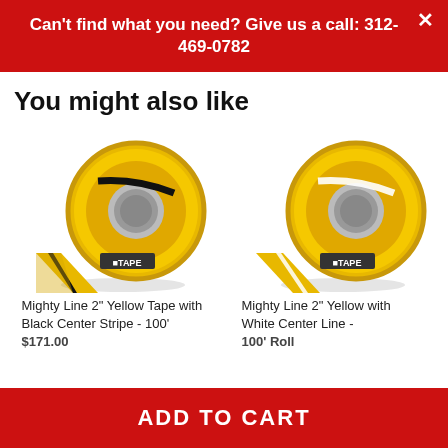Can't find what you need? Give us a call: 312-469-0782
You might also like
[Figure (photo): Roll of Mighty Line 2-inch yellow tape with black center stripe, brand logo visible]
[Figure (photo): Roll of Mighty Line 2-inch yellow tape with white center stripe, brand logo visible]
Mighty Line 2" Yellow Tape with Black Center Stripe - 100' Roll
Mighty Line 2" Yellow with White Center Line - 100' Roll
$171.00
100' Roll
ADD TO CART